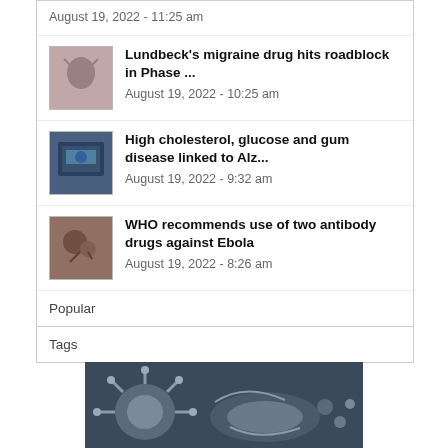August 19, 2022 - 11:25 am
Lundbeck's migraine drug hits roadblock in Phase ...
August 19, 2022 - 10:25 am
High cholesterol, glucose and gum disease linked to Alz...
August 19, 2022 - 9:32 am
WHO recommends use of two antibody drugs against Ebola
August 19, 2022 - 8:26 am
Popular
Tags
[Figure (photo): Medical/virus illustration in dark blue-gray tones]